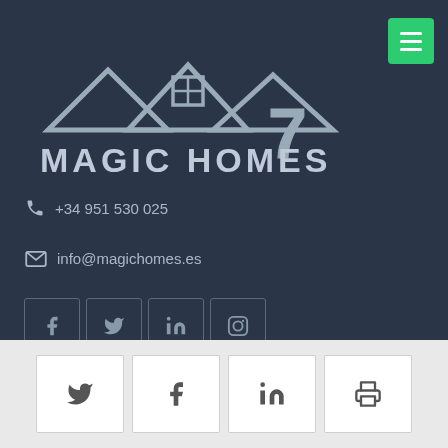[Figure (logo): Magic Homes 7 logo with house roofline silhouette and text MAGIC HOMES 7]
+34 951 530 025
info@magichomes.es
[Figure (infographic): Four social media icon buttons: Facebook, Twitter, LinkedIn, Instagram]
LATEST POSTS
CALLE AGUILA CORONADO, MIJAS
Cozy independent villa with 2 floors. 1 floor with large living room with fireplace, kitchenette, 2 bathrooms and 1 toilet, terraces ground floor:
[Figure (infographic): Four share/print icon buttons in footer: Twitter, Facebook, LinkedIn, Print]